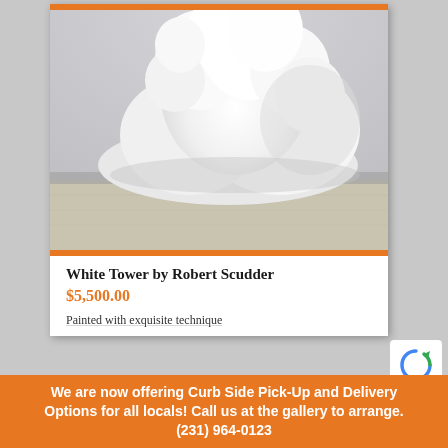[Figure (photo): Painting of a large white cumulus cloud tower rising above a grey-toned flat landscape with muted sky and ground, by Robert Scudder]
White Tower by Robert Scudder
$5,500.00
Painted with exquisite technique
We are now offering Curb Side Pick-Up and Delivery Options for all locals! Call us at the gallery to arrange. (231) 964-0123